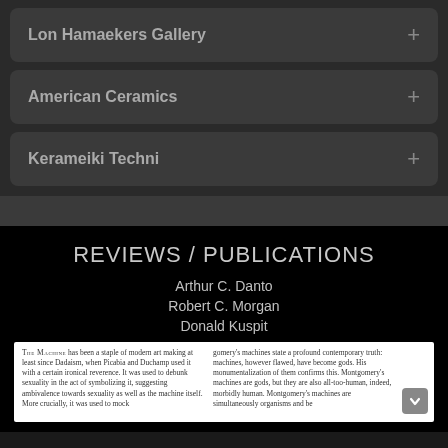Lon Hamaekers Gallery
American Ceramics
Kerameiki Techni
REVIEWS / PUBLICATIONS
Arthur C. Danto
Robert C. Morgan
Donald Kuspit
THE MACHINE has been a staple of modern art making at least since Dadaism, when Picabia and Duchamp used it with a certain ironical reverence. It was used to debunk sexuality in the act of symbolizing it, suggesting ambivalence towards sexuality as well as the machine itself. More crucially, it was used to mock... gomery's machines state a profound contemporary truth: machines, however flawed, have become gods. His monumentalization of them confirms this. Montgomery's machines are gods, but they are also all-too-human, indeed, morbidly human. Montgomery's machines are simultaneously organisms and be...